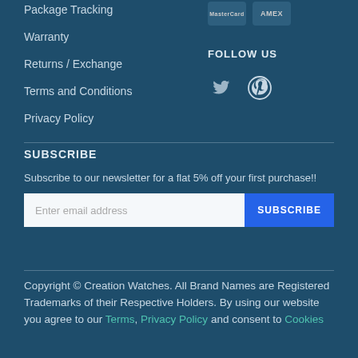Package Tracking
Warranty
Returns / Exchange
Terms and Conditions
Privacy Policy
FOLLOW US
[Figure (illustration): Social media icons: Twitter bird and Pinterest circle logo]
SUBSCRIBE
Subscribe to our newsletter for a flat 5% off your first purchase!!
[Figure (screenshot): Email subscription form with 'Enter email address' input field and blue SUBSCRIBE button]
Copyright © Creation Watches. All Brand Names are Registered Trademarks of their Respective Holders. By using our website you agree to our Terms, Privacy Policy and consent to Cookies